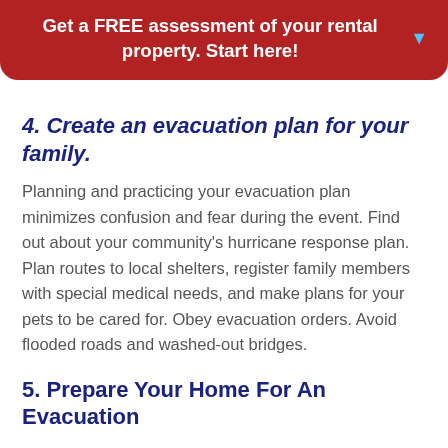Get a FREE assessment of your rental property. Start here!
4. Create an evacuation plan for your family.
Planning and practicing your evacuation plan minimizes confusion and fear during the event. Find out about your community's hurricane response plan. Plan routes to local shelters, register family members with special medical needs, and make plans for your pets to be cared for. Obey evacuation orders. Avoid flooded roads and washed-out bridges.
5. Prepare Your Home For An Evacuation
Preparing your home for a hurricane can, in some instances, minimize the amount of damage your home ungoes. Disconnect all electrical equipment and appliances, including personal computers. Place all valuables, including records, documents, small office equipment, and loose items